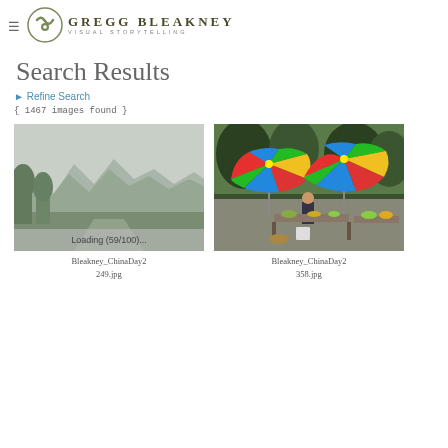GREGG BLEAKNEY VISUAL STORYTELLING
Search Results
▶ Refine Search
{ 1467 images found }
[Figure (photo): Thumbnail photo of misty mountain landscape with green trees, labeled Bleakney_ChinaDay2 249.jpg. Shows a loading progress overlay reading 'Loading (59/100)...']
Bleakney_ChinaDay2
249.jpg
[Figure (photo): Thumbnail photo of colorful striped umbrellas at a roadside market stall with a vendor and produce, labeled Bleakney_ChinaDay2 358.jpg]
Bleakney_ChinaDay2
358.jpg